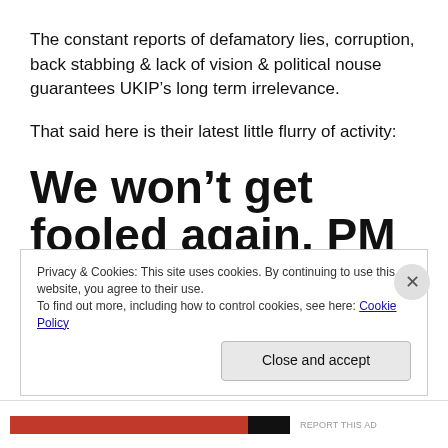The constant reports of defamatory lies, corruption, back stabbing & lack of vision & political nouse guarantees UKIP’s long term irrelevance.
That said here is their latest little flurry of activity:
We won’t get fooled again, PM
By NIGEL FARAGE
Privacy & Cookies: This site uses cookies. By continuing to use this website, you agree to their use.
To find out more, including how to control cookies, see here: Cookie Policy
Close and accept